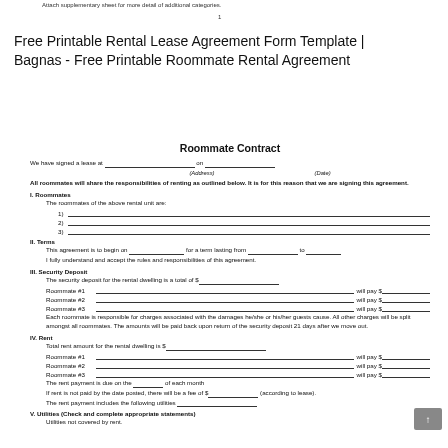Attach supplementary sheet for more detail of additional categories.
1
Free Printable Rental Lease Agreement Form Template | Bagnas - Free Printable Roommate Rental Agreement
Roommate Contract
We have signed a lease at ___ on ___
(Address) (Date)
All roommates will share the responsibilities of renting as outlined below. It is for this reason that we are signing this agreement.
I. Roommates
The roommates of the above rental unit are:
1) ___
2) ___
3) ___
II. Terms
This agreement is to begin on ___ for a term lasting from ___ to ___
I fully understand and accept the rules and responsibilities of this agreement.
III. Security Deposit
The security deposit for the rental dwelling is a total of $___
Roommate #1 ___ will pay $___
Roommate #2 ___ will pay $___
Roommate #3 ___ will pay $___
Each roommate is responsible for charges associated with the damages he/she or his/her guests cause. All other charges will be split amongst all roommates. The amounts will be paid back upon return of the security deposit 21 days after we move out.
IV. Rent
Total rent amount for the rental dwelling is $___
Roommate #1 ___ will pay $___
Roommate #2 ___ will pay $___
Roommate #3 ___ will pay $___
The rent payment is due on the ___ of each month
If rent is not paid by the date posted, there will be a fee of $___ (according to lease).
The rent payment includes the following utilities ___
V. Utilities (Check and complete appropriate statements)
Utilities not covered by rent.